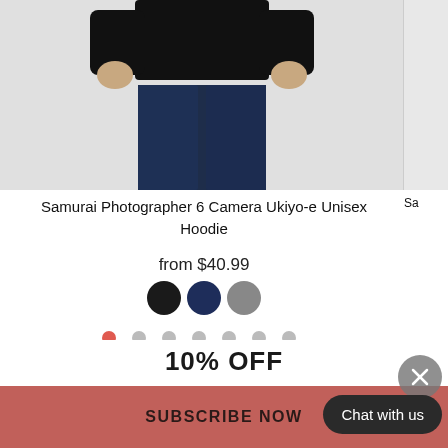[Figure (photo): Product photo of a person wearing dark navy sweatpants and a black top, cropped to show torso and lower body, on a light grey background]
Samurai Photographer 6 Camera Ukiyo-e Unisex Hoodie
from $40.99
[Figure (other): Three color swatches: black, navy, and gray circles]
[Figure (other): Carousel navigation dots: 8 dots, first one active in red/pink, rest in light gray]
10% OFF
SUBSCRIBE NOW
Chat with us